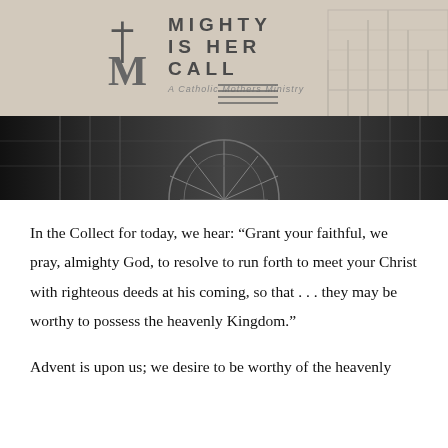[Figure (logo): Mighty Is Her Call logo — a Catholic Mothers Ministry — featuring a cross and stylized M icon with church architecture in the background, upper portion tan/cream, lower portion dark black-and-white photo of cathedral stonework]
In the Collect for today, we hear: “Grant your faithful, we pray, almighty God, to resolve to run forth to meet your Christ with righteous deeds at his coming, so that . . . they may be worthy to possess the heavenly Kingdom.”
Advent is upon us; we desire to be worthy of the heavenly